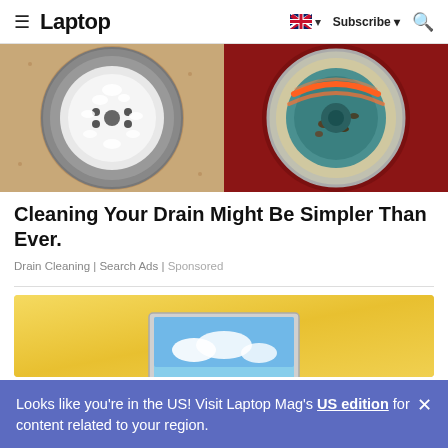Laptop | Subscribe | Search
[Figure (photo): Two-panel ad image: left panel shows a drain with baking soda/white powder on a sandy-colored surface; right panel shows a corroded or decorated circular drain/burner with teal, orange and brown tones on a dark red background.]
Cleaning Your Drain Might Be Simpler Than Ever.
Drain Cleaning | Search Ads | Sponsored
[Figure (photo): Yellow gradient background with a laptop computer partially visible at the bottom center — appears to be an advertisement banner.]
Looks like you're in the US! Visit Laptop Mag's US edition for content related to your region.